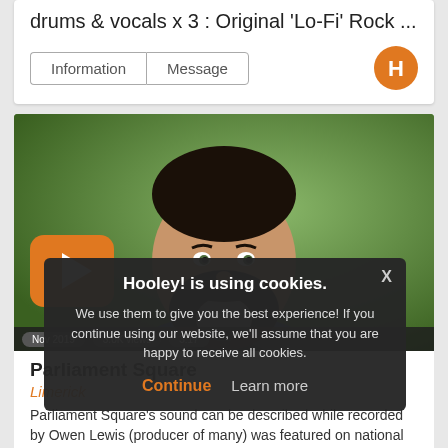drums & vocals x 3 : Original 'Lo-Fi' Rock ...
Information  Message
[Figure (photo): Portrait photo of a bearded man in a denim shirt, seated outdoors with green background. Large orange play button overlay in bottom-left corner. Stats bar at bottom.]
Parliament Square
Limerick
Parliament Square's sound can be described while recorded by Owen Lewis (producer of many) was featured on national radio (RTE...
Hooley! is using cookies. We use them to give you the best experience! If you continue using our website, we'll assume that you are happy to receive all cookies. Continue  Learn more